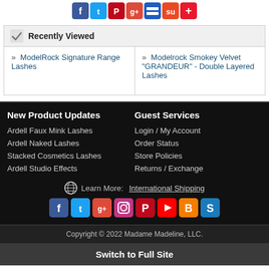[Figure (other): Row of social media sharing icons: Facebook, Twitter, Pinterest, Google+, Delicious, StumbleUpon, AddThis]
Recently Viewed
» ModelRock Signature Range Lashes
» Modelrock Smokey Velvet "GRANDEUR" - Double Layered Lashes
New Product Updates
Ardell Faux Mink Lashes
Ardell Naked Lashes
Stacked Cosmetics Lashes
Ardell Studio Effects
Guest Services
Login / My Account
Order Status
Store Policies
Returns / Exchange
Learn More:  International Shipping
[Figure (other): Row of social media icons: Facebook, Twitter, Google+, Instagram, Pinterest, YouTube, Blogger, Scribd]
Copyright © 2022 Madame Madeline, LLC.
Switch to Full Site